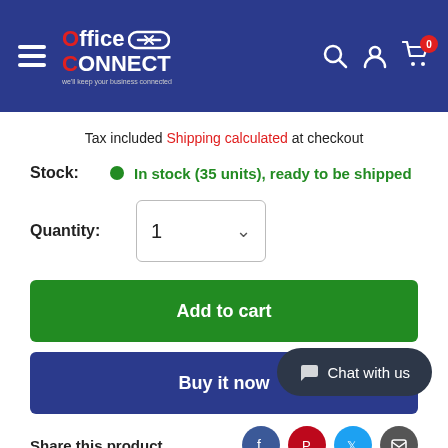[Figure (screenshot): Office Connect website header with logo, hamburger menu, search, account, and cart icons on dark blue background]
Tax included Shipping calculated at checkout
Stock: In stock (35 units), ready to be shipped
Quantity: 1
Add to cart
Buy it now
Share this product
Chat with us